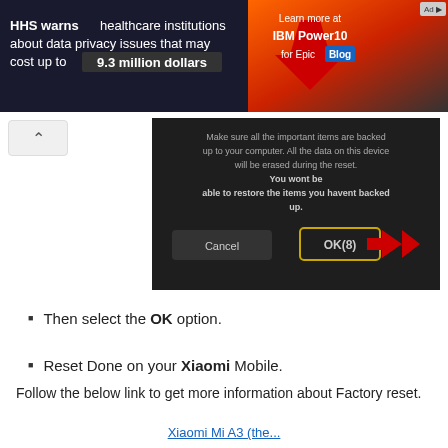[Figure (screenshot): Ad banner: HHS warns healthcare institutions about data privacy issues that may cost up to 9.3 million dollars. Learn more at IBM Power10 for Epic Blog.]
[Figure (screenshot): Device dialog screenshot on dark background: 'Make sure all the important items are backed up to your computer. All the data on this device will be erased during the reset. You wont be able to restore the items you havent backed up.' Buttons: Cancel and OK(8) with yellow border and red arrow pointing to OK(8).]
Then select the OK option.
Reset Done on your Xiaomi Mobile.
Follow the below link to get more information about Factory reset.
Xiaomi Mi A3 (the... (partial link)